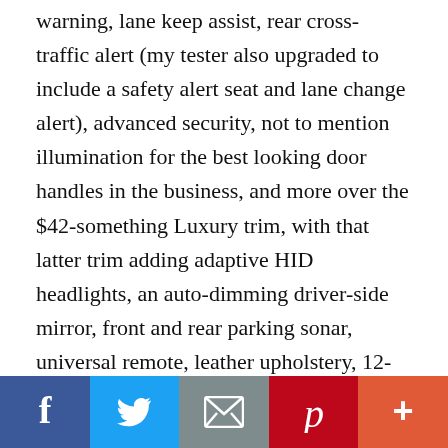warning, lane keep assist, rear cross-traffic alert (my tester also upgraded to include a safety alert seat and lane change alert), advanced security, not to mention illumination for the best looking door handles in the business, and more over the $42-something Luxury trim, with that latter trim adding adaptive HID headlights, an auto-dimming driver-side mirror, front and rear parking sonar, universal remote, leather upholstery, 12-way powered driver's seat with memory and 10-way powered passenger's seat, eight-inch CUE infotainment with navigation, wireless charging,
[Figure (infographic): Social media share bar with Facebook, Twitter, Email, Pinterest, and More buttons]